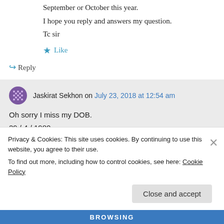September or October this year.
I hope you reply and answers my question.
Tc sir
★ Like
↪ Reply
Jaskirat Sekhon on July 23, 2018 at 12:54 am
Oh sorry I miss my DOB.
29 / 4 / 1980
Privacy & Cookies: This site uses cookies. By continuing to use this website, you agree to their use.
To find out more, including how to control cookies, see here: Cookie Policy
Close and accept